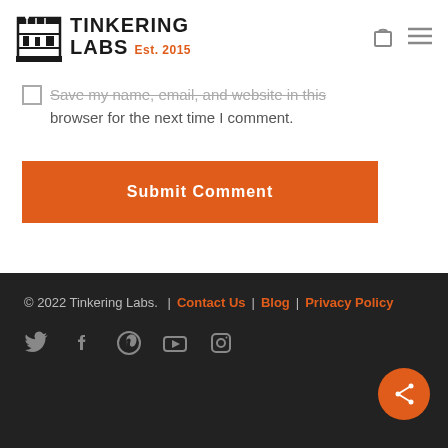[Figure (logo): Tinkering Labs logo with tools icon and text 'TINKERING LABS Est. 2015']
Save my name, email, and website in this browser for the next time I comment.
[Figure (other): Submit Comment button (orange rectangle)]
© 2022 Tinkering Labs. | Contact Us | Blog | Privacy Policy
Social media icons: Twitter, Facebook, Pinterest, YouTube, Instagram